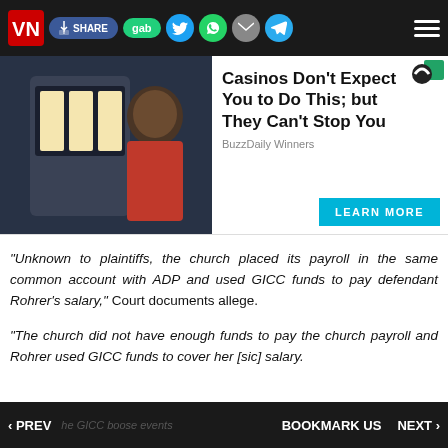VN | SHARE | gab | Twitter | WhatsApp | Mail | Telegram | Menu
[Figure (screenshot): Web advertisement with a woman at a slot machine, headline: Casinos Don't Expect You to Do This; but They Can't Stop You, source: BuzzDaily Winners, with a LEARN MORE button]
"Unknown to plaintiffs, the church placed its payroll in the same common account with ADP and used GICC funds to pay defendant Rohrer’s salary,” Court documents allege.
"The church did not have enough funds to pay the church payroll and Rohrer used GICC funds to cover her [sic] salary.
‹ PREV | he GICC boo | BOOKMARK US | se events | NEXT ›